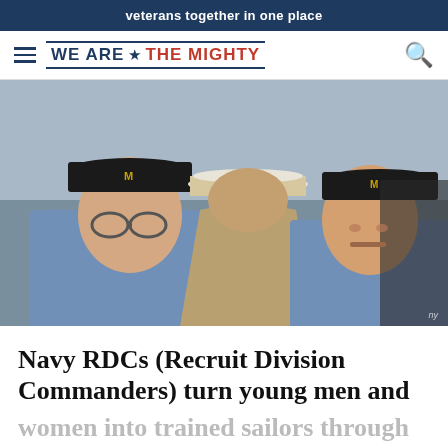veterans together in one place
WE ARE ★ THE MIGHTY
[Figure (photo): Two young Navy recruits in dark caps facing a uniformed officer (RDC) seen from behind wearing a white cover (hat), in an indoor training facility setting.]
Navy RDCs (Recruit Division Commanders) turn young men and women into trained sailors through